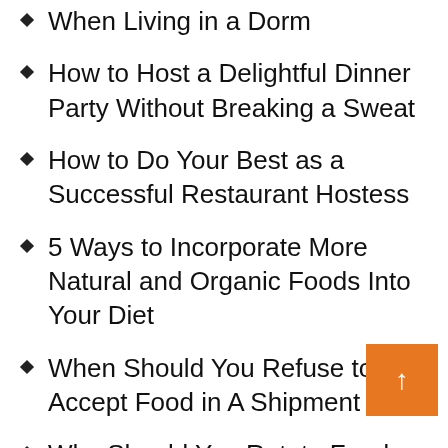When Living in a Dorm
How to Host a Delightful Dinner Party Without Breaking a Sweat
How to Do Your Best as a Successful Restaurant Hostess
5 Ways to Incorporate More Natural and Organic Foods Into Your Diet
When Should You Refuse to Accept Food in A Shipment
Why Should You Rotate Food When Thawing It
Which of The Following Foods Does Not Support Bacteria Growth
When You Display Food in Ice the Food